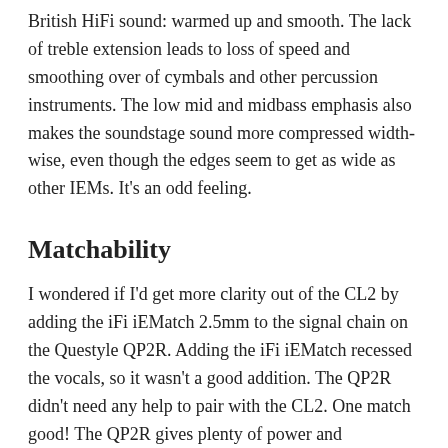British HiFi sound: warmed up and smooth. The lack of treble extension leads to loss of speed and smoothing over of cymbals and other percussion instruments. The low mid and midbass emphasis also makes the soundstage sound more compressed width-wise, even though the edges seem to get as wide as other IEMs. It's an odd feeling.
Matchability
I wondered if I'd get more clarity out of the CL2 by adding the iFi iEMatch 2.5mm to the signal chain on the Questyle QP2R. Adding the iFi iEMatch recessed the vocals, so it wasn't a good addition. The QP2R didn't need any help to pair with the CL2. One match good! The QP2R gives plenty of power and dimension to the CL2.